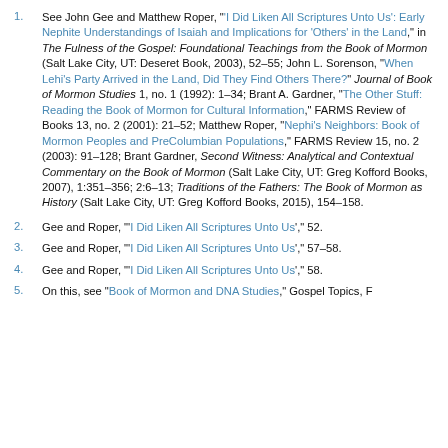See John Gee and Matthew Roper, "'I Did Liken All Scriptures Unto Us': Early Nephite Understandings of Isaiah and Implications for 'Others' in the Land," in The Fulness of the Gospel: Foundational Teachings from the Book of Mormon (Salt Lake City, UT: Deseret Book, 2003), 52–55; John L. Sorenson, "When Lehi's Party Arrived in the Land, Did They Find Others There?" Journal of Book of Mormon Studies 1, no. 1 (1992): 1–34; Brant A. Gardner, "The Other Stuff: Reading the Book of Mormon for Cultural Information," FARMS Review of Books 13, no. 2 (2001): 21–52; Matthew Roper, "Nephi's Neighbors: Book of Mormon Peoples and PreColumbian Populations," FARMS Review 15, no. 2 (2003): 91–128; Brant Gardner, Second Witness: Analytical and Contextual Commentary on the Book of Mormon (Salt Lake City, UT: Greg Kofford Books, 2007), 1:351–356; 2:6–13; Traditions of the Fathers: The Book of Mormon as History (Salt Lake City, UT: Greg Kofford Books, 2015), 154–158.
Gee and Roper, "'I Did Liken All Scriptures Unto Us'," 52.
Gee and Roper, "'I Did Liken All Scriptures Unto Us'," 57–58.
Gee and Roper, "'I Did Liken All Scriptures Unto Us'," 58.
On this, see "Book of Mormon and DNA Studies," Gospel Topics, F…